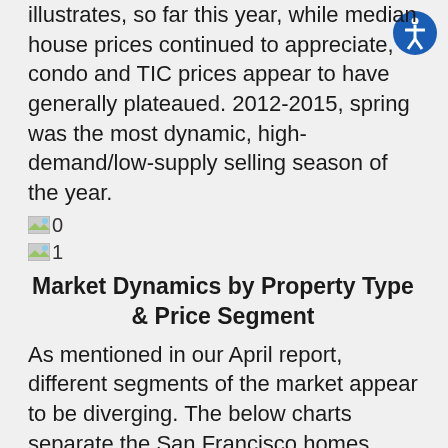illustrates, so far this year, while median house prices continued to appreciate, condo and TIC prices appear to have generally plateaued. 2012-2015, spring was the most dynamic, high-demand/low-supply selling season of the year.
[Figure (other): Image placeholder icon 0]
[Figure (other): Image placeholder icon 1]
Market Dynamics by Property Type & Price Segment
As mentioned in our April report, different segments of the market appear to be diverging. The below charts separate the San Francisco homes market into house and condo/co-op/TIC segments, then further subdivide each into 4 price segments. The lowest, most affordable, price segments are